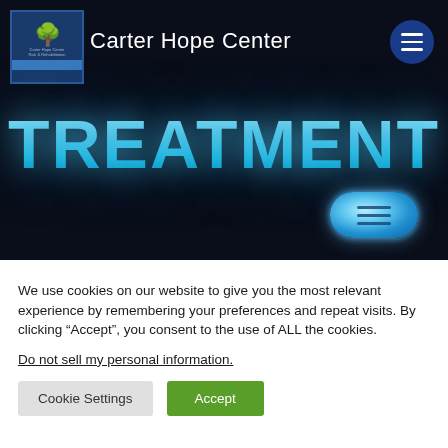[Figure (screenshot): Carter Hope Center website header with dark navy background, organization logo (tree icon in blue box), site name 'Carter Hope Center' in white, hamburger menu icon top right, large glowing cyan 'TREATMENT' heading, and a round glowing menu button at bottom right of hero section]
We use cookies on our website to give you the most relevant experience by remembering your preferences and repeat visits. By clicking “Accept”, you consent to the use of ALL the cookies.
Do not sell my personal information.
Cookie Settings
Accept